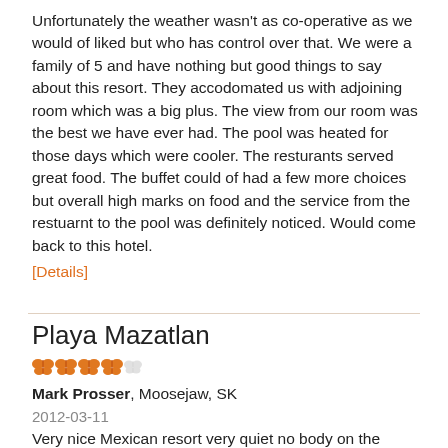Unfortunately the weather wasn't as co-operative as we would of liked but who has control over that. We were a family of 5 and have nothing but good things to say about this resort. They accodomated us with adjoining room which was a big plus. The view from our room was the best we have ever had. The pool was heated for those days which were cooler. The resturants served great food. The buffet could of had a few more choices but overall high marks on food and the service from the restuarnt to the pool was definitely noticed. Would come back to this hotel.
[Details]
Playa Mazatlan
[Figure (other): 4.5 out of 5 butterfly rating icons in orange]
Mark Prosser, Moosejaw, SK
2012-03-11
Very nice Mexican resort very quiet no body on the beach